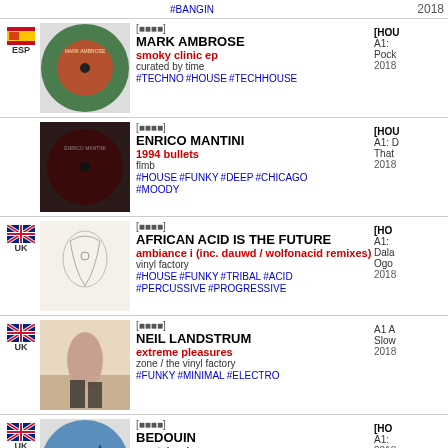#BANGIN  2018
[rating] MARK AMBROSE - smoky clinic ep - curated by time - #TECHNO #HOUSE #TECHHOUSE - [HOU] A1: Pock 2018 - ESP
[rating] ENRICO MANTINI - 1994 bullets - flmb - #HOUSE #FUNKY #DEEP #CHICAGO #MOODY - [HOU] A1: D That 2018
[rating] AFRICAN ACID IS THE FUTURE - ambiance i (inc. dauwd / wolfonacid remixes) - vinyl factory - #HOUSE #FUNKY #TRIBAL #ACID #PERCUSSIVE #PROGRESSIVE - [HO] A1: Dala Ogo 2018 - UK
[rating] NEIL LANDSTRUM - extreme pleasures - zone / the vinyl factory - #FUNKY #MINIMAL #ELECTRO - A1 A Slow 2018 - UK
[rating] BEDOUIN - wastelands - crosstown rebels - #HOUSE #TECHHOUSE #DEEP #PROGRESSIVE - [HO] A1: 2018 - UK
[rating] TUNNELVISIONS - the celestial ritual 4x12" - [HO] - UK